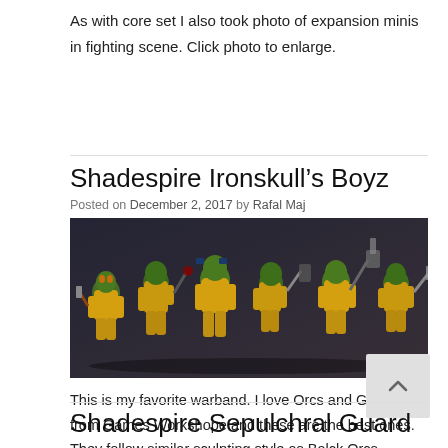As with core set I also took photo of expansion minis in fighting scene. Click photo to enlarge.
Shadespire Ironskull's Boyz
Posted on December 2, 2017 by Rafal Maj
[Figure (photo): Photo of Shadespire Ironskull's Boyz miniatures — ork/orc and goblin fantasy wargame figures painted in yellow, blue, and green, posed in fighting stances against a dark grey background.]
This is my favorite warband. I love Orcs and Goblins from Games Workshope and these are the best ones. They follow similar sculpting style as Balck Orcs ('Ardboys now). And I have several ideas for alternative color schemes. Click photos to enlarge.
Shadespire Sepulchral Guard